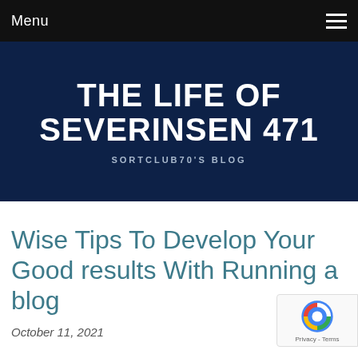Menu
THE LIFE OF SEVERINSEN 471
SORTCLUB70'S BLOG
Wise Tips To Develop Your Good results With Running a blog
October 11, 2021